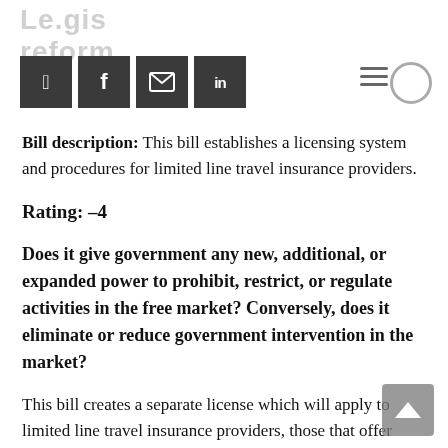[Figure (other): Social media share buttons: Twitter, Facebook, Email, LinkedIn icons in dark grey squares]
Bill description: This bill establishes a licensing system and procedures for limited line travel insurance providers.
Rating: -4
Does it give government any new, additional, or expanded power to prohibit, restrict, or regulate activities in the free market? Conversely, does it eliminate or reduce government intervention in the market?
This bill creates a separate license which will apply to limited line travel insurance providers, those that offer “coverage for personal risks incident to planned